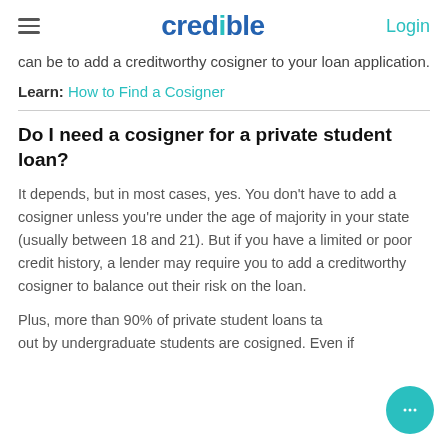credible | Login
can be to add a creditworthy cosigner to your loan application.
Learn: How to Find a Cosigner
Do I need a cosigner for a private student loan?
It depends, but in most cases, yes. You don't have to add a cosigner unless you're under the age of majority in your state (usually between 18 and 21). But if you have a limited or poor credit history, a lender may require you to add a creditworthy cosigner to balance out their risk on the loan.
Plus, more than 90% of private student loans taken out by undergraduate students are cosigned. Even if